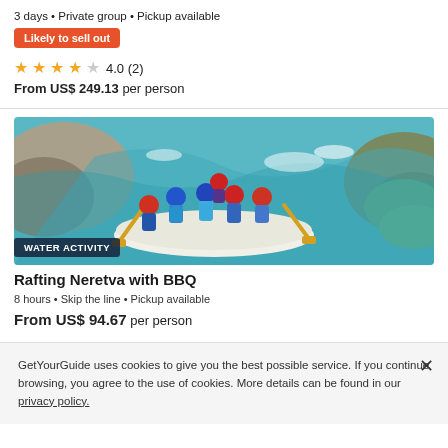3 days • Private group • Pickup available
Likely to sell out
4.0 (2)
From US$ 249.13 per person
[Figure (photo): Group of people white water rafting on Neretva river with rocks and green moss in background, wearing helmets and life vests]
WATER ACTIVITY
Rafting Neretva with BBQ
8 hours • Skip the line • Pickup available
From US$ 94.67 per person
GetYourGuide uses cookies to give you the best possible service. If you continue browsing, you agree to the use of cookies. More details can be found in our privacy policy.